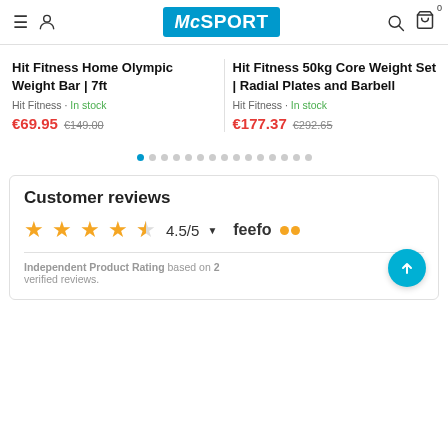McSPORT navigation header with hamburger menu, user icon, McSport logo, search icon, and cart icon
Hit Fitness Home Olympic Weight Bar | 7ft
Hit Fitness · In stock
€69.95  €149.00
Hit Fitness 50kg Core Weight Set | Radial Plates and Barbell
Hit Fitness · In stock
€177.37  €292.65
[Figure (other): Carousel navigation dots, 15 total, first dot active (blue)]
Customer reviews
4.5/5  feefo
Independent Product Rating based on 2 verified reviews.